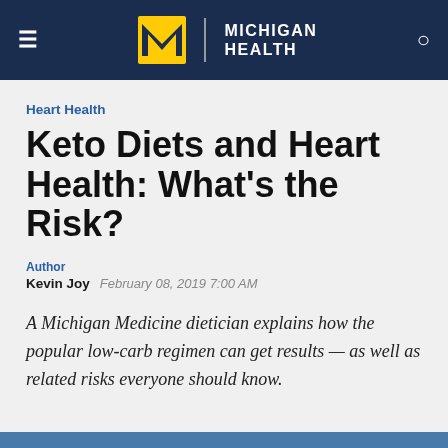[Figure (logo): Michigan Health logo with block M in yellow/gold and text 'MICHIGAN HEALTH' in white on dark navy background, with hamburger menu icon on left and search icon on right]
Heart Health
Keto Diets and Heart Health: What's the Risk?
Author
Kevin Joy   February 08, 2019 7:00 AM
A Michigan Medicine dietician explains how the popular low-carb regimen can get results — as well as related risks everyone should know.